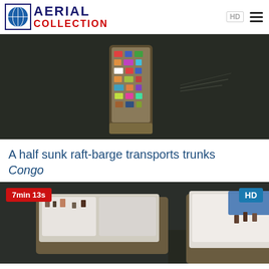[Figure (logo): Aerial Collection logo with globe icon, 'AERIAL' in dark blue bold caps and 'COLLECTION' in red bold caps]
[Figure (photo): Aerial view of a half-sunk raft-barge loaded with cargo on a dark river in Congo]
A half sunk raft-barge transports trunks
Congo
[Figure (photo): Aerial view of barges loaded with white-tarped cargo on a dark river, with badge '7min 13s' in red and 'HD' in blue]